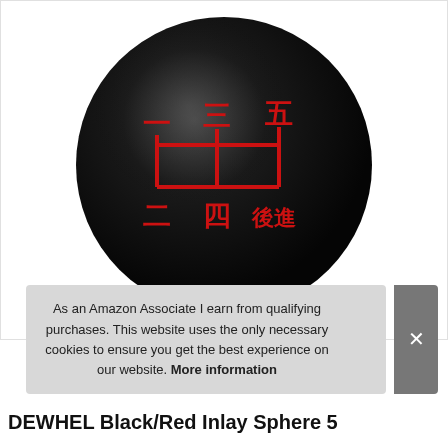[Figure (photo): A black matte spherical shift knob with red Chinese character gear pattern (shift pattern with characters for gears 1-5 and reverse) engraved on its surface, shown against a white background.]
As an Amazon Associate I earn from qualifying purchases. This website uses the only necessary cookies to ensure you get the best experience on our website. More information
DEWHEL Black/Red Inlay Sphere 5